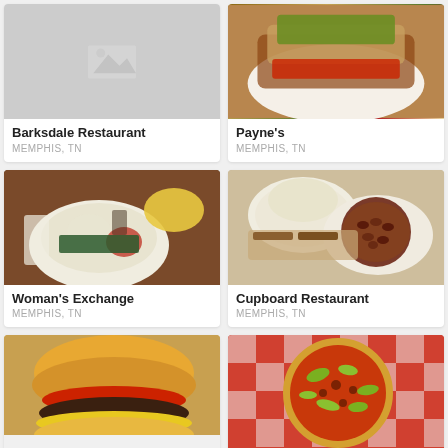[Figure (photo): Placeholder image for Barksdale Restaurant (gray mountain icon)]
Barksdale Restaurant
MEMPHIS, TN
[Figure (photo): Food photo for Payne's restaurant showing a sandwich with guacamole and red sauce]
Payne's
MEMPHIS, TN
[Figure (photo): Food photo for Woman's Exchange showing a plate with mashed potatoes, greens, beans and tomato]
Woman's Exchange
MEMPHIS, TN
[Figure (photo): Food photo for Cupboard Restaurant showing a bowl of red beans, mashed potatoes and other sides]
Cupboard Restaurant
MEMPHIS, TN
[Figure (photo): Food photo for Alex's Tavern showing a large cheeseburger with tomato]
Alex's Tavern
[Figure (photo): Food photo for Coletta's showing a pizza with toppings on a checkered tablecloth]
Coletta's | Memphis BBQ Italian Style in the Elvis...